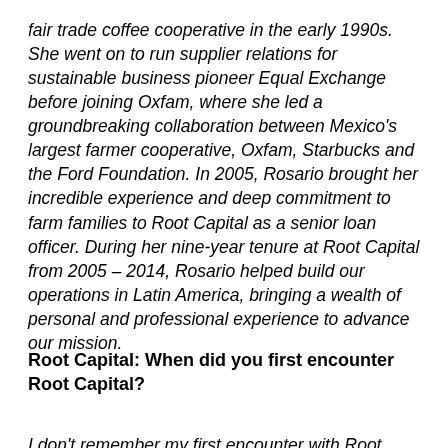fair trade coffee cooperative in the early 1990s. She went on to run supplier relations for sustainable business pioneer Equal Exchange before joining Oxfam, where she led a groundbreaking collaboration between Mexico's largest farmer cooperative, Oxfam, Starbucks and the Ford Foundation. In 2005, Rosario brought her incredible experience and deep commitment to farm families to Root Capital as a senior loan officer. During her nine-year tenure at Root Capital from 2005 – 2014, Rosario helped build our operations in Latin America, bringing a wealth of personal and professional experience to advance our mission.
Root Capital: When did you first encounter Root Capital?
I don't remember my first encounter with Root